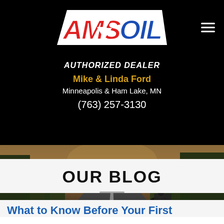[Figure (logo): AMSOIL logo in red and blue lettering on black background with white outline]
AUTHORIZED DEALER
Mike & Linda Ford
Minneapolis & Ham Lake, MN
(763) 257-3130
[Figure (photo): Motorcycle rider on a winding road through a forested landscape with warm golden light]
OUR BLOG
What to Know Before Your First